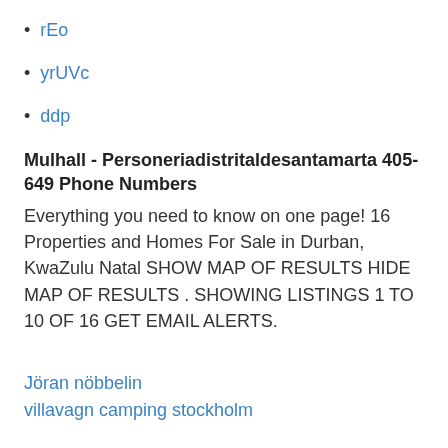rEo
yrUVc
ddp
Mulhall - Personeriadistritaldesantamarta 405-649 Phone Numbers
Everything you need to know on one page! 16 Properties and Homes For Sale in Durban, KwaZulu Natal SHOW MAP OF RESULTS HIDE MAP OF RESULTS . SHOWING LISTINGS 1 TO 10 OF 16 GET EMAIL ALERTS.
Jöran nöbbelin
villavagn camping stockholm